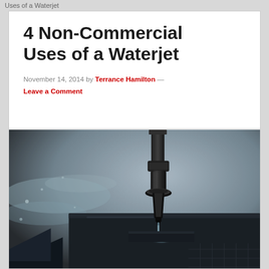Uses of a Waterjet
4 Non-Commercial Uses of a Waterjet
November 14, 2014 by Terrance Hamilton — Leave a Comment
[Figure (photo): Close-up photo of a waterjet cutting machine nozzle cutting into a dark material, with water and black surface visible]